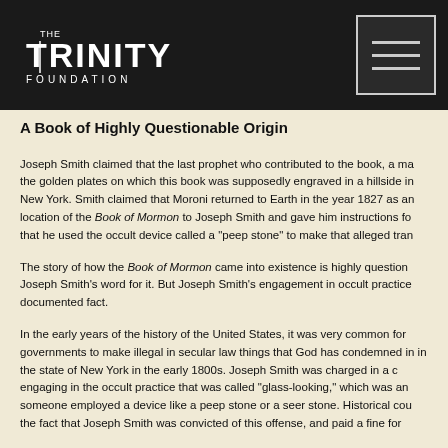THE TRINITY FOUNDATION
A Book of Highly Questionable Origin
Joseph Smith claimed that the last prophet who contributed to the book, a man named Moroni, buried the golden plates on which this book was supposedly engraved in a hillside in upstate New York. Smith claimed that Moroni returned to Earth in the year 1827 as an angel and revealed the location of the Book of Mormon to Joseph Smith and gave him instructions for translating it. Smith admitted that he used the occult device called a “peep stone” to make that alleged translation.
The story of how the Book of Mormon came into existence is highly questionable. We have only Joseph Smith’s word for it. But Joseph Smith’s engagement in occult practices is a well-documented fact.
In the early years of the history of the United States, it was very common for state governments to make illegal in secular law things that God has condemned in his law. This was done in the state of New York in the early 1800s. Joseph Smith was charged in a civil court with engaging in the occult practice that was called “glass-looking,” which was another name for when someone employed a device like a peep stone or a seer stone. Historical court records confirm the fact that Joseph Smith was convicted of this offense, and paid a fine for it.